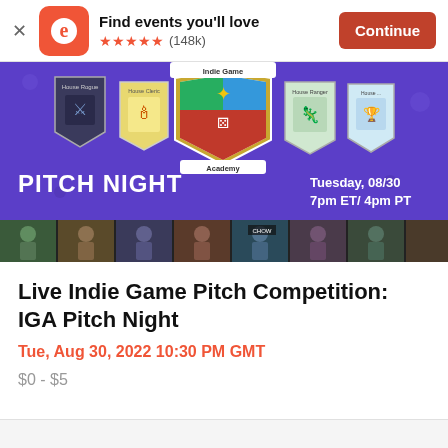Find events you'll love ★★★★★ (148k) Continue
[Figure (photo): Indie Game Academy Pitch Night promotional banner showing house crests (House Rogue, House Cleric, House Ranger, House Warrior) with text 'PITCH NIGHT' and 'Tuesday, 08/30 7pm ET/ 4pm PT', below is a strip of video call participant thumbnails]
Live Indie Game Pitch Competition: IGA Pitch Night
Tue, Aug 30, 2022 10:30 PM GMT
$0 - $5